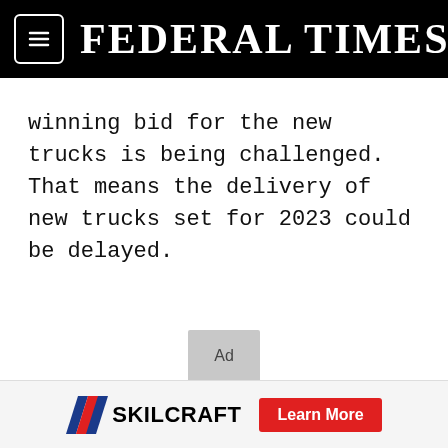FEDERAL TIMES
winning bid for the new trucks is being challenged. That means the delivery of new trucks set for 2023 could be delayed.
[Figure (other): Ad placeholder box with gray background and 'Ad' label]
SKILCRAFT Learn More